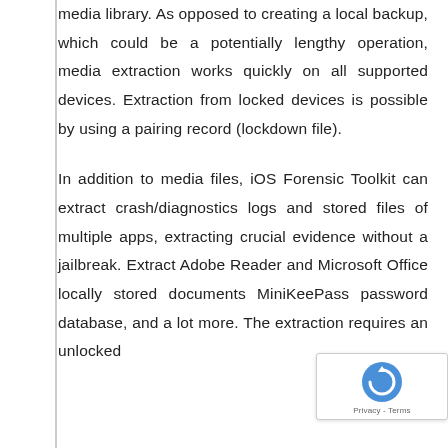media library. As opposed to creating a local backup, which could be a potentially lengthy operation, media extraction works quickly on all supported devices. Extraction from locked devices is possible by using a pairing record (lockdown file).

In addition to media files, iOS Forensic Toolkit can extract crash/diagnostics logs and stored files of multiple apps, extracting crucial evidence without a jailbreak. Extract Adobe Reader and Microsoft Office locally stored documents MiniKeePass password database, and a lot more. The extraction requires an unlocked